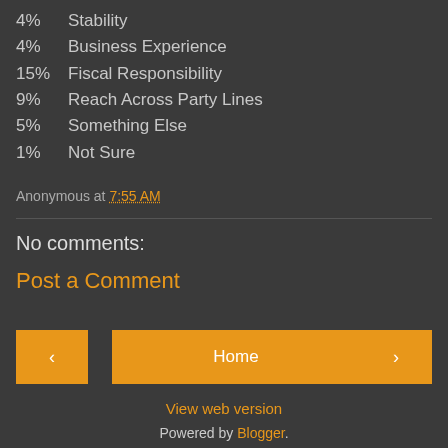4%   Stability
4%   Business Experience
15%  Fiscal Responsibility
9%   Reach Across Party Lines
5%   Something Else
1%   Not Sure
Anonymous at 7:55 AM
No comments:
Post a Comment
Home
View web version
Powered by Blogger.